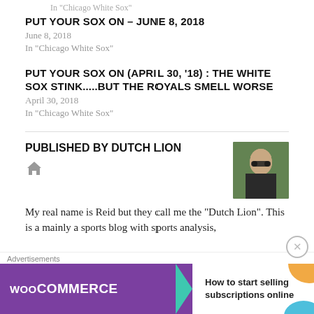In "Chicago White Sox"
PUT YOUR SOX ON – JUNE 8, 2018
June 8, 2018
In "Chicago White Sox"
PUT YOUR SOX ON (APRIL 30, '18) : THE WHITE SOX STINK.....BUT THE ROYALS SMELL WORSE
April 30, 2018
In "Chicago White Sox"
PUBLISHED BY DUTCH LION
[Figure (photo): Headshot photo of a man wearing sunglasses outdoors]
My real name is Reid but they call me the "Dutch Lion". This is a mainly a sports blog with sports analysis,
Advertisements
[Figure (infographic): WooCommerce advertisement banner: 'How to start selling subscriptions online']